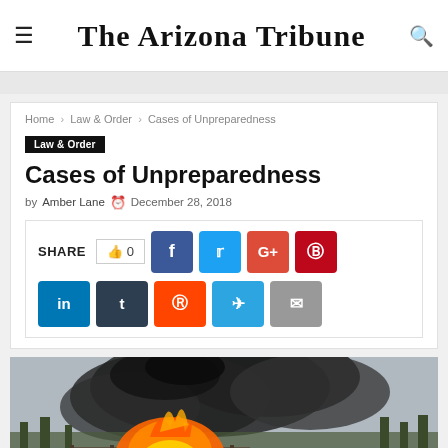The Arizona Tribune
Home > Law & Order > Cases of Unpreparedness
Law & Order
Cases of Unpreparedness
by Amber Lane  December 28, 2018
[Figure (screenshot): Social share bar with SHARE label, like button showing 0, Facebook, Twitter, Google+, Pinterest, LinkedIn, Tumblr, Reddit, Telegram, and Email buttons]
[Figure (photo): Photograph of a car on fire with large flames and black smoke, with trees and construction fencing in the background]